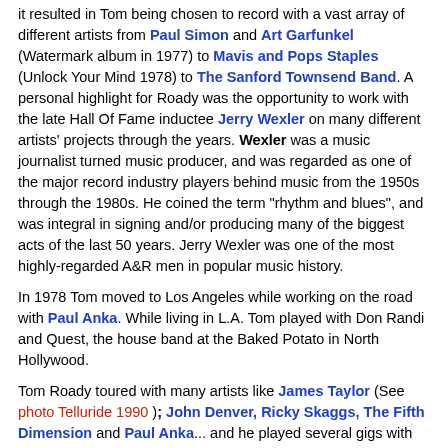it resulted in Tom being chosen to record with a vast array of different artists from Paul Simon and Art Garfunkel (Watermark album in 1977) to Mavis and Pops Staples (Unlock Your Mind 1978) to The Sanford Townsend Band. A personal highlight for Roady was the opportunity to work with the late Hall Of Fame inductee Jerry Wexler on many different artists' projects through the years. Wexler was a music journalist turned music producer, and was regarded as one of the major record industry players behind music from the 1950s through the 1980s. He coined the term "rhythm and blues", and was integral in signing and/or producing many of the biggest acts of the last 50 years. Jerry Wexler was one of the most highly-regarded A&R men in popular music history.
In 1978 Tom moved to Los Angeles while working on the road with Paul Anka. While living in L.A. Tom played with Don Randi and Quest, the house band at the Baked Potato in North Hollywood.
Tom Roady toured with many artists like James Taylor (See photo Telluride 1990 ); John Denver, Ricky Skaggs, The Fifth Dimension and Paul Anka... and he played several gigs with